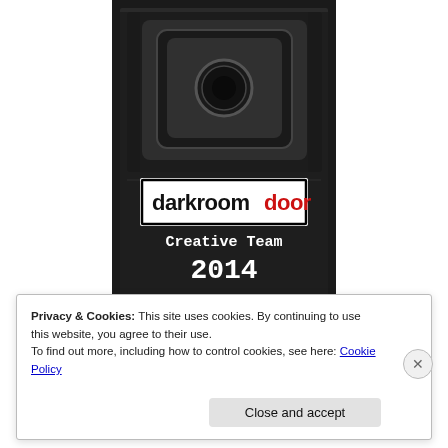[Figure (illustration): Black and white photo of a dark industrial door/vault with a logo overlay reading 'darkroom door' (darkroom in black, door in red) and text 'Creative Team 2014' in white typewriter font on black background]
Privacy & Cookies: This site uses cookies. By continuing to use this website, you agree to their use.
To find out more, including how to control cookies, see here: Cookie Policy
Close and accept